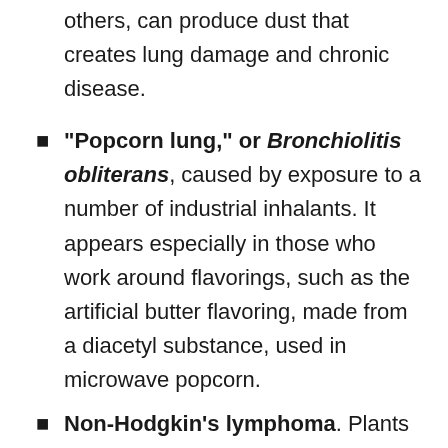others, can produce dust that creates lung damage and chronic disease.
"Popcorn lung," or Bronchiolitis obliterans, caused by exposure to a number of industrial inhalants. It appears especially in those who work around flavorings, such as the artificial butter flavoring, made from a diacetyl substance, used in microwave popcorn.
Non-Hodgkin's lymphoma. Plants that manufacture glyphosate (an active component of the weed-killer Roundup), or environments that spray glyphosate, put workers at risk of this variety of cancer.